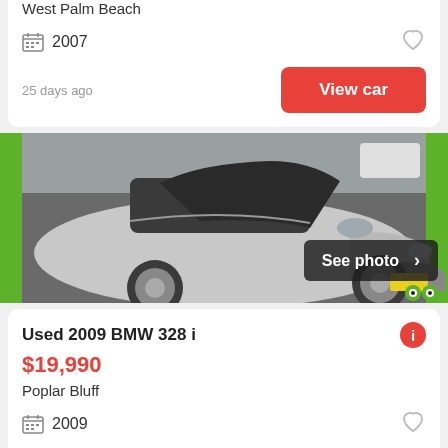West Palm Beach
2007
25 days ago
View car
[Figure (photo): Silver BMW 328i convertible with top down, parked in a dealer lot. Green gecko mascot visible in lower right corner. 'See photo >' button overlay in bottom right.]
Used 2009 BMW 328 i
$19,990
Poplar Bluff
2009